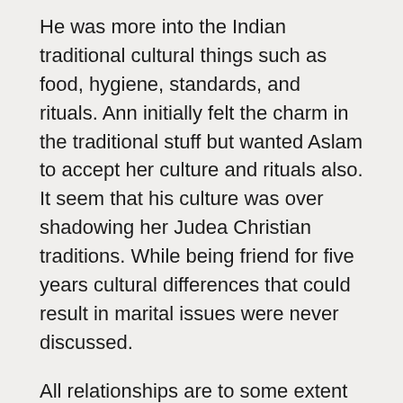He was more into the Indian traditional cultural things such as food, hygiene, standards, and rituals. Ann initially felt the charm in the traditional stuff but wanted Aslam to accept her culture and rituals also. It seem that his culture was over shadowing her Judea Christian traditions. While being friend for five years cultural differences that could result in marital issues were never discussed.
All relationships are to some extent cross-cultural, in that both parties come together from different families to build a new unit together. Within India there are dozens if not hundreds of distinctly different cultures. Sometime within the same state of Kerala the culture and tradition from the South is different than the one from the North. Same thing is true for Arab, Far East, or within Africa. There are distinct cultural differences with Europe or in the US between